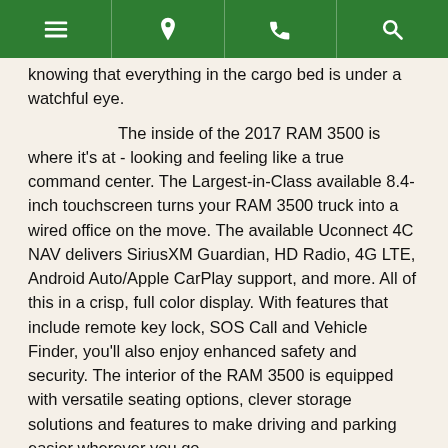[navigation bar with menu, location, phone, search icons]
knowing that everything in the cargo bed is under a watchful eye.
The inside of the 2017 RAM 3500 is where it's at - looking and feeling like a true command center. The Largest-in-Class available 8.4-inch touchscreen turns your RAM 3500 truck into a wired office on the move. The available Uconnect 4C NAV delivers SiriusXM Guardian, HD Radio, 4G LTE, Android Auto/Apple CarPlay support, and more. All of this in a crisp, full color display. With features that include remote key lock, SOS Call and Vehicle Finder, you'll also enjoy enhanced safety and security. The interior of the RAM 3500 is equipped with versatile seating options, clever storage solutions and features to make driving and parking easier wherever you go.
So, if you're in the market for a vehicle that offers the best in class features, performance capabilities, and style, stop by Benny Boyd Auto of Liberty Hill, TX to take a look at our vast inventory and schedule a test drive of the sleek and capable 2017 RAM 3500. We look forward to